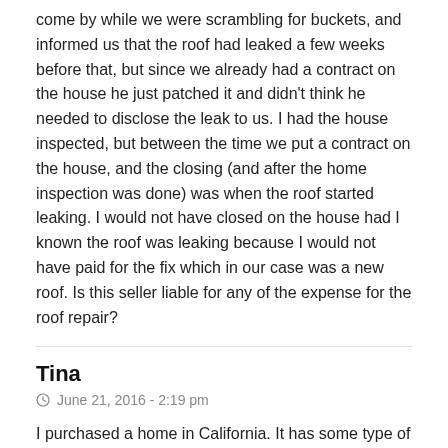come by while we were scrambling for buckets, and informed us that the roof had leaked a few weeks before that, but since we already had a contract on the house he just patched it and didn't think he needed to disclose the leak to us. I had the house inspected, but between the time we put a contract on the house, and the closing (and after the home inspection was done) was when the roof started leaking. I would not have closed on the house had I known the roof was leaking because I would not have paid for the fix which in our case was a new roof. Is this seller liable for any of the expense for the roof repair?
Tina
June 21, 2016 - 2:19 pm
I purchased a home in California. It has some type of mold in the garage that was not noticed because the previous owner had their items stacked on the shelf. Once we received the keys and looked around, that's when we saw the mold. The previous owner said that the inspector told him when he bought the house that it was just a stain. We have two mold estimates for a couple of thousand dollars but the previous owner real estate agent only wants him to give us